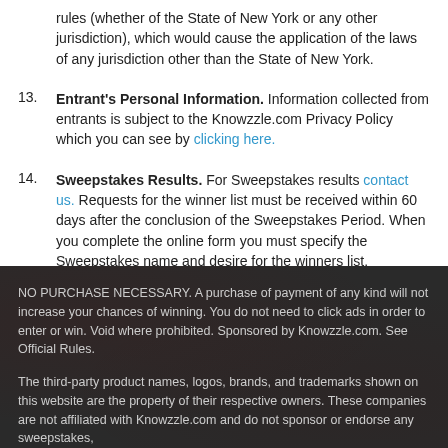rules (whether of the State of New York or any other jurisdiction), which would cause the application of the laws of any jurisdiction other than the State of New York.
13. Entrant's Personal Information. Information collected from entrants is subject to the Knowzzle.com Privacy Policy which you can see by clicking here.
14. Sweepstakes Results. For Sweepstakes results contact us. Requests for the winner list must be received within 60 days after the conclusion of the Sweepstakes Period. When you complete the online form you must specify the Sweepstakes name and desire for the winners list.
NO PURCHASE NECESSARY. A purchase of payment of any kind will not increase your chances of winning. You do not need to click ads in order to enter or win. Void where prohibited. Sponsored by Knowzzle.com. See Official Rules.
The third-party product names, logos, brands, and trademarks shown on this website are the property of their respective owners. These companies are not affiliated with Knowzzle.com and do not sponsor or endorse any sweepstakes,